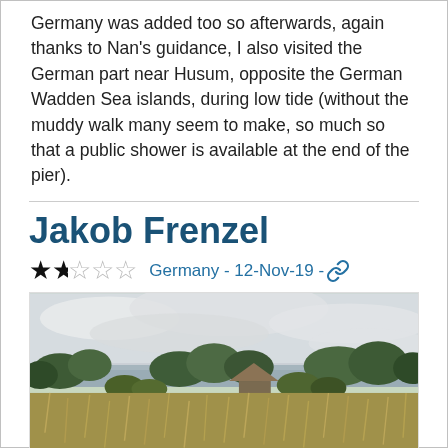Germany was added too so afterwards, again thanks to Nan's guidance, I also visited the German part near Husum, opposite the German Wadden Sea islands, during low tide (without the muddy walk many seem to make, so much so that a public shower is available at the end of the pier).
Jakob Frenzel
★★☆☆☆ Germany - 12-Nov-19 - 🔗
[Figure (photo): A landscape photo showing a flat grassy marsh or meadow in the foreground with dry golden-brown grasses, some trees and shrubby vegetation in the mid-ground, a body of water (lake or inlet) visible in the background, and a thatched-roof structure partially visible among the trees. The sky is overcast with grey-white clouds.]